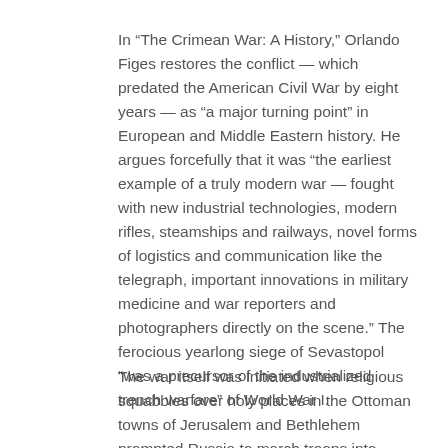In “The Crimean War: A History,” Orlando Figes restores the conflict — which predated the American Civil War by eight years — as “a major turning point” in European and Middle Eastern history. He argues forcefully that it was “the earliest example of a truly modern war — fought with new industrial technologies, modern rifles, steamships and railways, novel forms of logistics and communication like the telegraph, important innovations in military medicine and war reporters and photographers directly on the scene.” The ferocious yearlong siege of Sevastopol “was a precursor of the industrialized trench warfare” of World War I.
The war itself was initiated when religious squabbles over holy places in the Ottoman towns of Jerusalem and Bethlehem prompted Russia to march troops into present-day Romania, threatening the partition of Ottoman lands. In response, the Ottoman Empire declared war, and Britain and France rallied to its defense. The